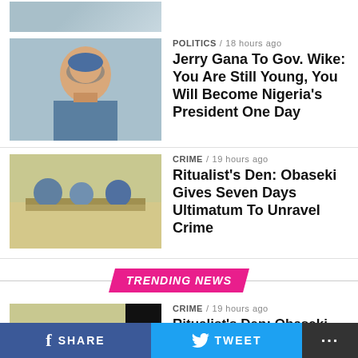[Figure (photo): Partial top image of a person, cropped]
POLITICS / 18 hours ago
Jerry Gana To Gov. Wike: You Are Still Young, You Will Become Nigeria’s President One Day
[Figure (photo): Meeting scene with people seated at table]
CRIME / 19 hours ago
Ritualist’s Den: Obaseki Gives Seven Days Ultimatum To Unravel Crime
TRENDING NEWS
[Figure (photo): Meeting scene with people seated at table, with black bar]
CRIME / 19 hours ago
Ritualist’s Den: Obaseki Gives Seven Days Ultimatum To Unravel Crime
[Figure (photo): Man with hat, with black bar]
POLITICS / 18 hours ago
Jerry Gana To Gov. Wike: You Are Still
f SHARE   🐦 TWEET   ⋯